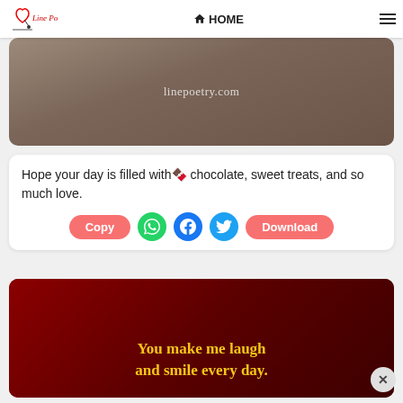Line Poetry | HOME | menu
[Figure (photo): Hands holding together, with linepoetry.com watermark overlay]
Hope your day is filled with🍫 chocolate, sweet treats, and so much love.
[Figure (photo): Red silk/rose background with candle, text: You make me laugh and smile every day.]